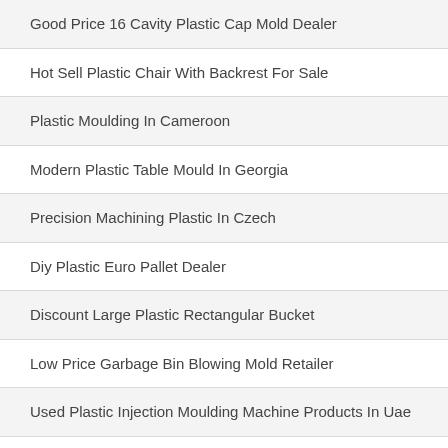Good Price 16 Cavity Plastic Cap Mold Dealer
Hot Sell Plastic Chair With Backrest For Sale
Plastic Moulding In Cameroon
Modern Plastic Table Mould In Georgia
Precision Machining Plastic In Czech
Diy Plastic Euro Pallet Dealer
Discount Large Plastic Rectangular Bucket
Low Price Garbage Bin Blowing Mold Retailer
Used Plastic Injection Moulding Machine Products In Uae
Cpvc Injection Moulding Machine In Benin